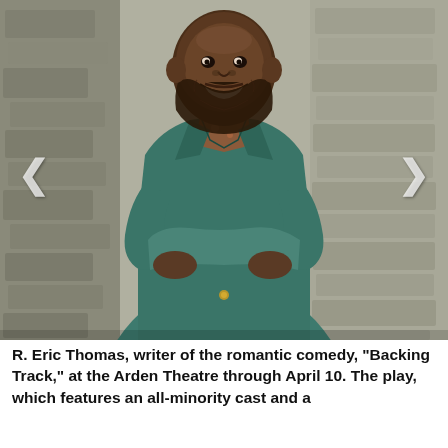[Figure (photo): A smiling Black man with a beard wearing a teal/green blazer over a floral shirt, arms crossed, leaning against a stone wall background. Navigation arrows (< and >) are visible on left and right sides of the image.]
R. Eric Thomas, writer of the romantic comedy, "Backing Track," at the Arden Theatre through April 10. The play, which features an all-minority cast and a